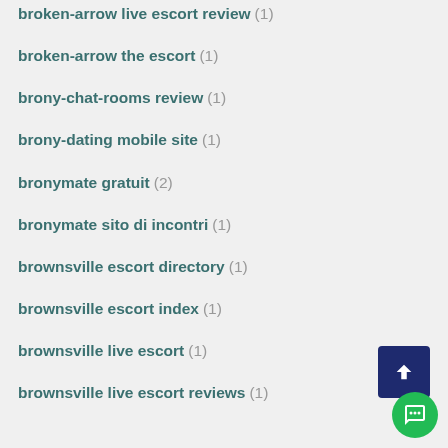broken-arrow live escort review (1)
broken-arrow the escort (1)
brony-chat-rooms review (1)
brony-dating mobile site (1)
bronymate gratuit (2)
bronymate sito di incontri (1)
brownsville escort directory (1)
brownsville escort index (1)
brownsville live escort (1)
brownsville live escort reviews (1)